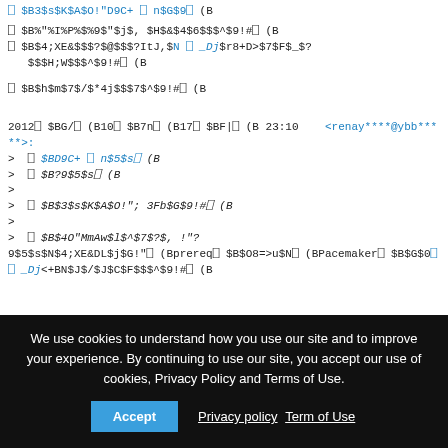⎕ $B3$s$K$A$O!"D9C+ ⎕ n$G$9⎕ (B
⎕ $B%"%I%P%$%9$"$j$, $H$&$4$6$$$^$9!#⎕ (B
⎕ $B$4;XE&$$$?$@$$$?ItJ,$N ⎕ _Dj$r8+D>$7$F$_$?$$$H;W$$$^$9!#⎕ (B
⎕ $B$h$m$7$/$*4j$$$7$^$9!#⎕ (B
2012⎕ $BG/⎕ (B10⎕ $B7n⎕ (B17⎕ $BF|⎕ (B 23:10   <renay****@ybb*****>:
> ⎕ $BD9C+ ⎕ n$5$s⎕ (B
> ⎕ $B?9$5$s⎕ (B
>
> ⎕ $B$3$s$K$A$O!"; 3Fb$G$9!#⎕ (B
>
> ⎕ $B$4O"MmAw$l$^$7$?$, !"?
9$5$s$N$4;XE&DL$j$G!"⎕ (Bprereq⎕ $B$O8=>u$N⎕ (BPacemaker⎕ $B$G$0⎕ _Dj<+BN$J$/$J$C$F$$$^$9!#⎕ (B
We use cookies to understand how you use our site and to improve your experience. By continuing to use our site, you accept our use of cookies, Privacy Policy and Terms of Use.
Accept   Privacy policy  Term of Use